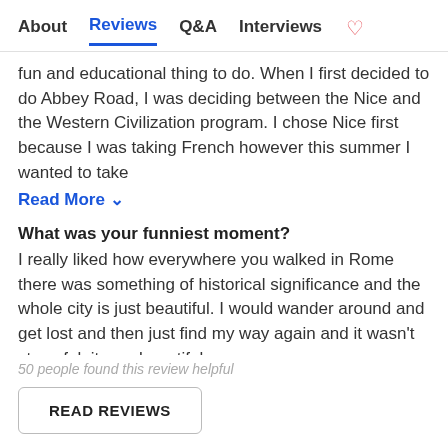About   Reviews   Q&A   Interviews
fun and educational thing to do. When I first decided to do Abbey Road, I was deciding between the Nice and the Western Civilization program. I chose Nice first because I was taking French however this summer I wanted to take
Read More ∨
What was your funniest moment?
I really liked how everywhere you walked in Rome there was something of historical significance and the whole city is just beautiful. I would wander around and get lost and then just find my way again and it wasn't stressful, it was beautiful.
50 people found this review helpful
READ REVIEWS